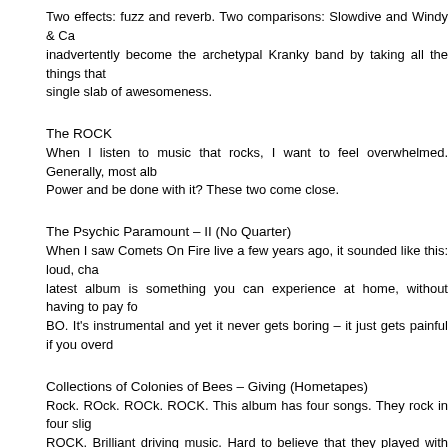Two effects: fuzz and reverb. Two comparisons: Slowdive and Windy & Ca inadvertently become the archetypal Kranky band by taking all the things that single slab of awesomeness.
The ROCK
When I listen to music that rocks, I want to feel overwhelmed. Generally, most alb Power and be done with it? These two come close.
The Psychic Paramount – II (No Quarter)
When I saw Comets On Fire live a few years ago, it sounded like this: loud, cha latest album is something you can experience at home, without having to pay fo BO. It's instrumental and yet it never gets boring – it just gets painful if you overd
Collections of Colonies of Bees – Giving (Hometapes)
Rock. ROck. ROCk. ROCK. This album has four songs. They rock in four slig ROCK. Brilliant driving music. Hard to believe that they played with Justin Vernor makes CoCoB all the cooler for it. This is what Battles would sound like if they we
The Atmosphere
I'm a sucker for instrumental, atmospheric stuff that you put on in the ba concentrating on what you're doing because it's so beautiful. These four never fa
Deaf Center – Owl Splinters (Type)
There seems to be plenty of this creepy cello and piano music around at the m that never gets boring. It's slow, sure, but it gets where it's going and you can't